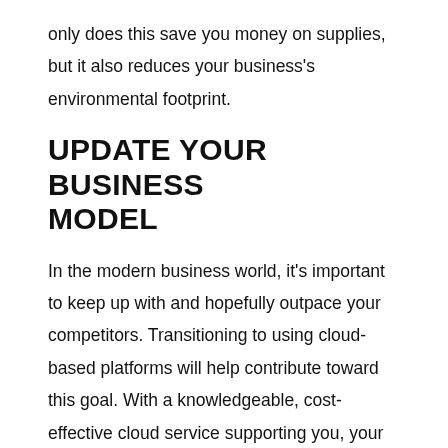only does this save you money on supplies, but it also reduces your business's environmental footprint.
UPDATE YOUR BUSINESS MODEL
In the modern business world, it’s important to keep up with and hopefully outpace your competitors. Transitioning to using cloud-based platforms will help contribute toward this goal. With a knowledgeable, cost-effective cloud service supporting you, your business can continue to thrive in a faster-paced environment.
Learn more about cloud applications and usage by